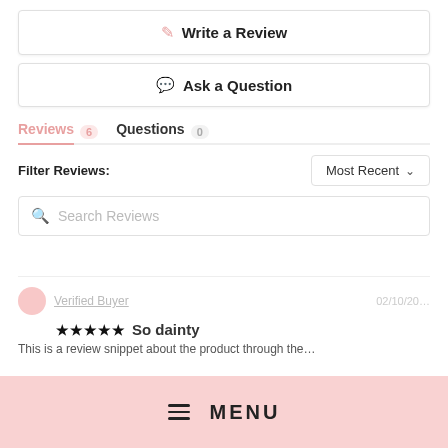Write a Review
Ask a Question
Reviews 6   Questions 0
Filter Reviews:
Most Recent
Search Reviews
Verified Buyer
So dainty
This is a review snippet about the product through the...
MENU